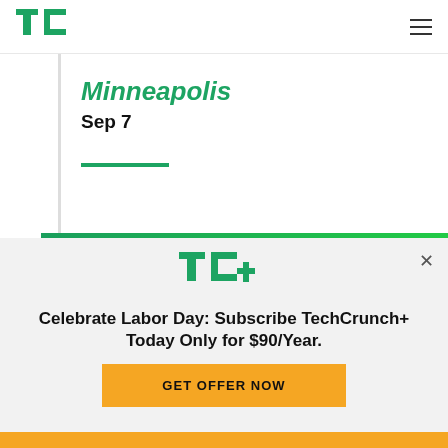TechCrunch navigation bar with TC logo and hamburger menu
Minneapolis
Sep 7
Register
TC+
Celebrate Labor Day: Subscribe TechCrunch+ Today Only for $90/Year.
GET OFFER NOW